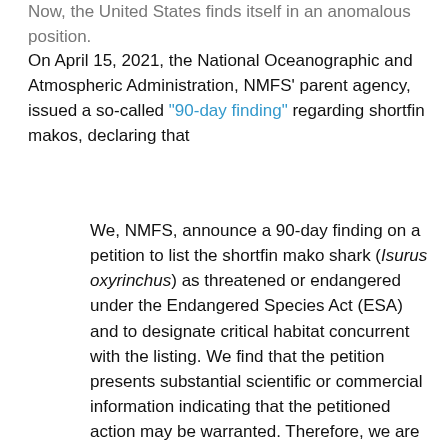Now, the United States finds itself in an anomalous position.
On April 15, 2021, the National Oceanographic and Atmospheric Administration, NMFS’ parent agency, issued a so-called “90-day finding” regarding shortfin makos, declaring that
We, NMFS, announce a 90-day finding on a petition to list the shortfin mako shark (Isurus oxyrinchus) as threatened or endangered under the Endangered Species Act (ESA) and to designate critical habitat concurrent with the listing. We find that the petition presents substantial scientific or commercial information indicating that the petitioned action may be warranted. Therefore, we are initiating a status review of the species to determine whether listing under the ESA is warranted. To assure this status review is comprehensive, we are soliciting scientific and commercial information regarding this species.